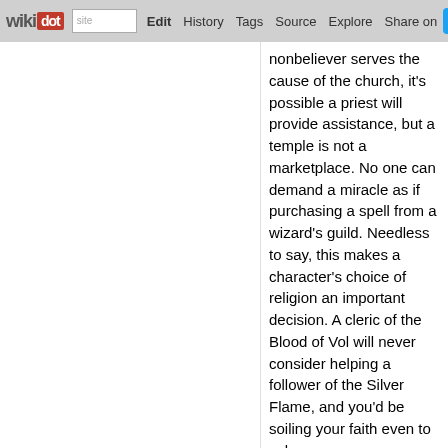wikidot | site | Edit | History | Tags | Source | Explore | Share on [Twitter]
nonbeliever serves the cause of the church, it's possible a priest will provide assistance, but a temple is not a marketplace. No one can demand a miracle as if purchasing a spell from a wizard's guild. Needless to say, this makes a character's choice of religion an important decision. A cleric of the Blood of Vol will never consider helping a follower of the Silver Flame, and you'd be soiling your faith even to ask.
There is a notable exception to this rule: corrupt clerics. Especially in Breland, there are priests who are more interested in lining their pockets than serving the faithful. If you can find such a cleric, you can